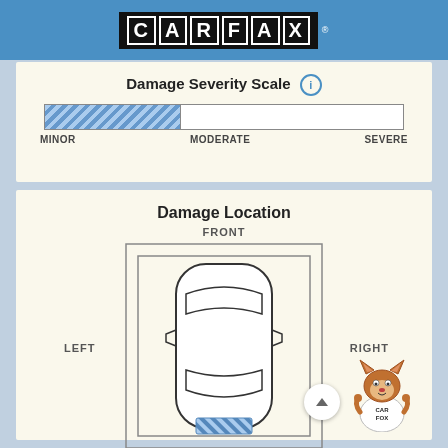[Figure (logo): CARFAX logo in black boxes with white letters on blue header bar]
Damage Severity Scale
[Figure (infographic): Damage severity scale bar: left portion filled with blue diagonal stripes (minor), right portion empty white (moderate to severe). Labels: MINOR, MODERATE, SEVERE]
Damage Location
[Figure (engineering-diagram): Top-down schematic of a car showing damage location at the rear (blue diagonal stripes at bottom of car). Labels: FRONT (top), LEFT (left), RIGHT (right), REAR (bottom). Fox mascot visible at bottom right.]